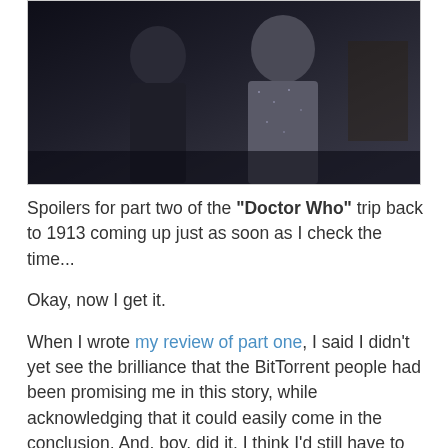[Figure (photo): Dark scene showing two figures/people in low lighting, resembling a still from a TV show set in 1913]
Spoilers for part two of the "Doctor Who" trip back to 1913 coming up just as soon as I check the time...
Okay, now I get it.
When I wrote my review of part one, I said I didn't yet see the brilliance that the BitTorrent people had been promising me in this story, while acknowledging that it could easily come in the conclusion. And, boy, did it. I think I'd still have to put next week's "Blink" (which I can't wait to discuss with y'all) as my favorite of the season, but it's a much harder call now. Paired with "Human Nature," this was a really moving tale of the pros and cons of mortality vs. godhood.
Good as Tennant was as John Smith in the last episode, he was even better tonight. As I mentioned last time, the promise of the Doctor living another man's life without